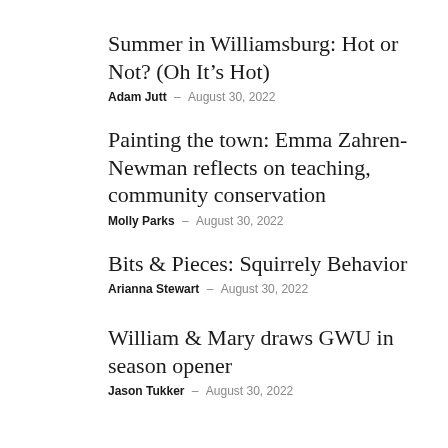Summer in Williamsburg: Hot or Not? (Oh It’s Hot)
Adam Jutt – August 30, 2022
Painting the town: Emma Zahren-Newman reflects on teaching, community conservation
Molly Parks – August 30, 2022
Bits & Pieces: Squirrely Behavior
Arianna Stewart – August 30, 2022
William & Mary draws GWU in season opener
Jason Tukker – August 30, 2022